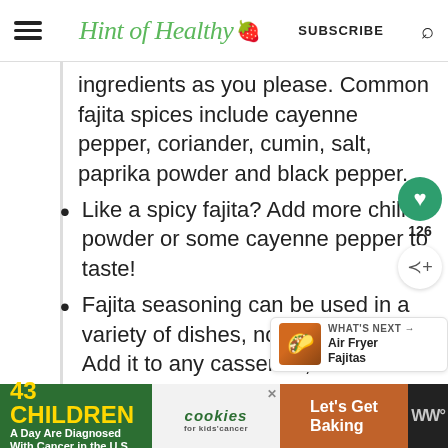Hint of Healthy | SUBSCRIBE
ingredients as you please. Common fajita spices include cayenne pepper, coriander, cumin, salt, paprika powder and black pepper.
Like a spicy fajita? Add more chili powder or some cayenne pepper to taste!
Fajita seasoning can be used in a variety of dishes, not just fajitas. Add it to any casserole, or use it rub to season beef or chicken.
[Figure (other): Social sharing widget with heart/like button showing 126 likes and a share icon]
[Figure (other): What's Next widget showing Air Fryer Fajitas with a food thumbnail]
[Figure (other): Advertisement banner: 43 Children A Day Are Diagnosed With Cancer in the U.S. - cookies for kids cancer - Let's Get Baking]